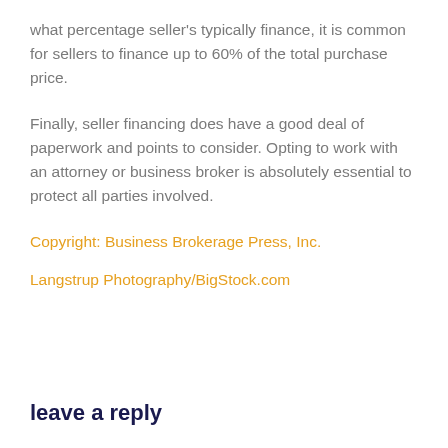what percentage seller's typically finance, it is common for sellers to finance up to 60% of the total purchase price.
Finally, seller financing does have a good deal of paperwork and points to consider. Opting to work with an attorney or business broker is absolutely essential to protect all parties involved.
Copyright: Business Brokerage Press, Inc.
Langstrup Photography/BigStock.com
leave a reply